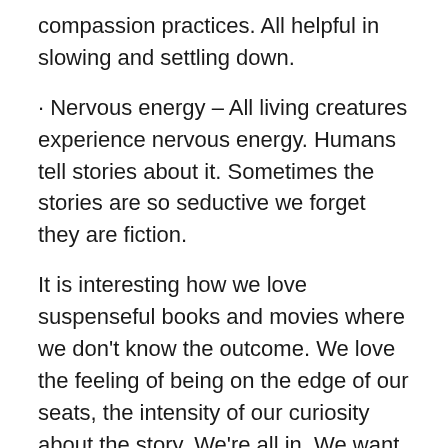compassion practices. All helpful in slowing and settling down.
· Nervous energy – All living creatures experience nervous energy. Humans tell stories about it. Sometimes the stories are so seductive we forget they are fiction.
It is interesting how we love suspenseful books and movies where we don't know the outcome. We love the feeling of being on the edge of our seats, the intensity of our curiosity about the story. We're all in. We want this anxiety. We want this aliveness, this energy.
Then add me or mute to the story: here